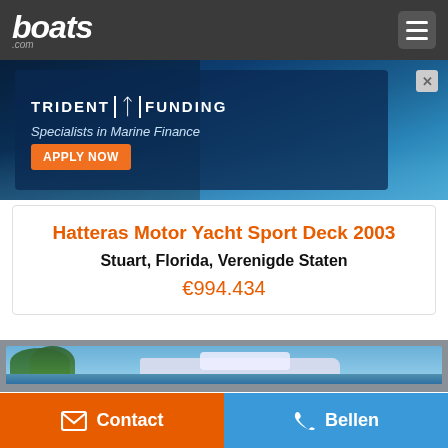boats.com
[Figure (photo): Trident Funding advertisement banner — Specialists in Marine Finance, with APPLY NOW button and speedboat on water background]
Hatteras Motor Yacht Sport Deck 2003
Stuart, Florida, Verenigde Staten
€994.434
[Figure (photo): White motor yacht docked in a marina with palm trees and blue sky in background]
Contact
Bellen